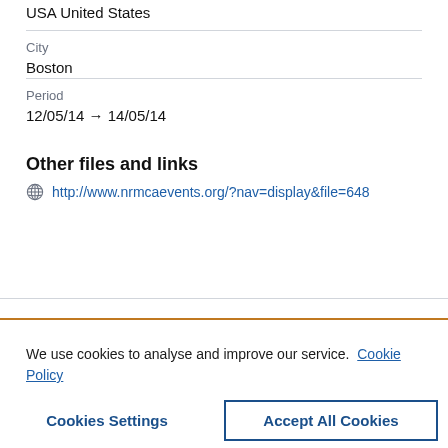USA United States
City
Boston
Period
12/05/14 → 14/05/14
Other files and links
http://www.nrmcaevents.org/?nav=display&file=648
We use cookies to analyse and improve our service. Cookie Policy
Cookies Settings
Accept All Cookies